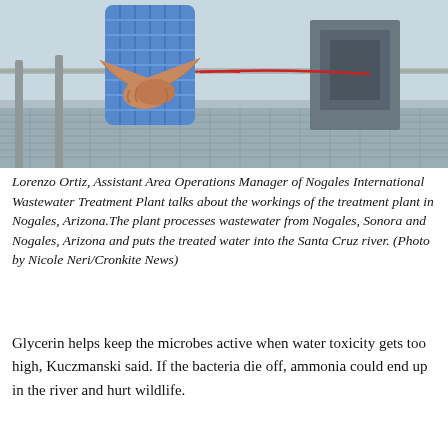[Figure (photo): Lorenzo Ortiz, Assistant Area Operations Manager, standing at the Nogales International Wastewater Treatment Plant. He is wearing a blue checkered shirt with arms crossed, standing on industrial grating with pipes and equipment visible in the background.]
Lorenzo Ortiz, Assistant Area Operations Manager of Nogales International Wastewater Treatment Plant talks about the workings of the treatment plant in Nogales, Arizona.The plant processes wastewater from Nogales, Sonora and Nogales, Arizona and puts the treated water into the Santa Cruz river. (Photo by Nicole Neri/Cronkite News)
Glycerin helps keep the microbes active when water toxicity gets too high, Kuczmanski said. If the bacteria die off, ammonia could end up in the river and hurt wildlife.